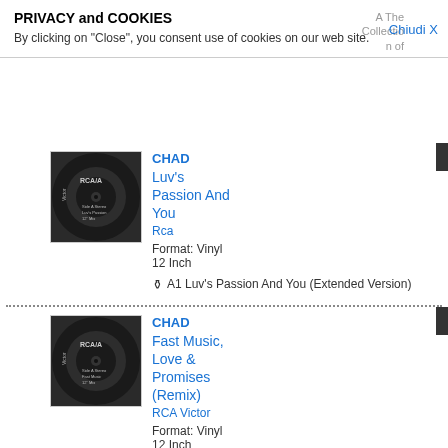PRIVACY and COOKIES
By clicking on "Close", you consent use of cookies on our web site.
Chiudi X
[Figure (photo): Vinyl record label for CHAD - Luv's Passion And You, RCA Victor]
CHAD
Luv's Passion And You
Rca
Format: Vinyl 12 Inch
A1 Luv's Passion And You (Extended Version)
[Figure (photo): Vinyl record label for CHAD - Fast Music, Love & Promises (Remix), RCA Victor]
CHAD
Fast Music, Love & Promises (Remix)
RCA Victor
Format: Vinyl 12 Inch
A1 Fast Music, Love & Promises (Remix) (Extended Radio Version)